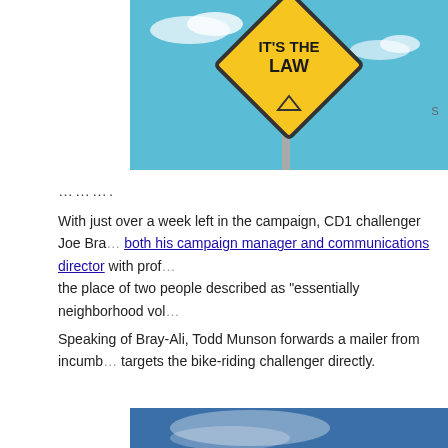[Figure (photo): A yellow diamond-shaped road sign reading IT'S THE LAW against a blue sky background.]
………..
With just over a week left in the campaign, CD1 challenger Joe Bra… both his campaign manager and communications director with prof… the place of two people described as "essentially neighborhood vol…
Speaking of Bray-Ali, Todd Munson forwards a mailer from incumb… targets the bike-riding challenger directly.
[Figure (photo): A mailer showing text 'Joe Bray-Ali' in red letters on a white envelope/mailer background with a blue sky and what appears to be a figure or person.]